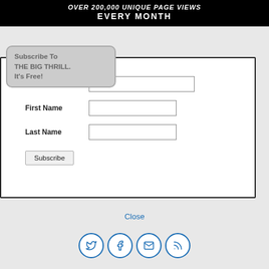[Figure (other): Banner with text: OVER 200,000 UNIQUE PAGE VIEWS EVERY MONTH on black background]
Subscribe To THE BIG THRILL. It's Free!
Email Address * [input field] First Name [input field] Last Name [input field] Subscribe [button]
Close
[Figure (other): Four social media icons in circles: Twitter, Facebook, Email, RSS]